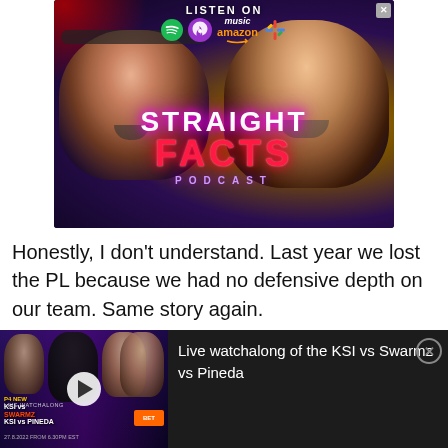[Figure (screenshot): Podcast advertisement banner for 'Straight Facts Podcast' showing two men's faces against a dark purple/gold background with neon text. 'LISTEN ON' header with Spotify, Apple Podcasts, Amazon Music, and Google Podcasts icons. Neon-styled text reads 'STRAIGHT FACTS' in white/pink and 'FACTS' in red, with 'PODCAST' in purple below. An X close button is in the top right.]
Honestly, I don't understand. Last year we lost the PL because we had no defensive depth on our team. Same story again.
[Figure (screenshot): Dark bottom bar video notification showing a thumbnail for 'KSI vs SWARMZ / KSI vs PINEDA' boxing event with a play button, alongside text reading 'Live watchalong of the KSI vs Swarmz vs Pineda' and a close (X) button.]